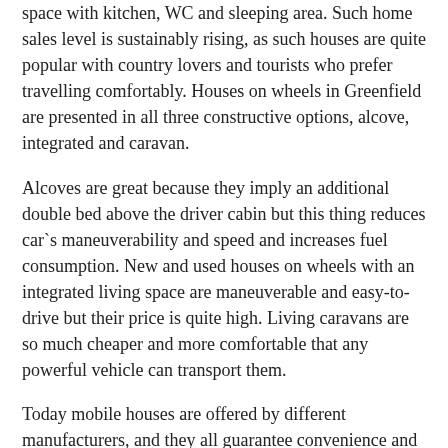space with kitchen, WC and sleeping area. Such home sales level is sustainably rising, as such houses are quite popular with country lovers and tourists who prefer travelling comfortably. Houses on wheels in Greenfield are presented in all three constructive options, alcove, integrated and caravan.
Alcoves are great because they imply an additional double bed above the driver cabin but this thing reduces car`s maneuverability and speed and increases fuel consumption. New and used houses on wheels with an integrated living space are maneuverable and easy-to-drive but their price is quite high. Living caravans are so much cheaper and more comfortable that any powerful vehicle can transport them.
Today mobile houses are offered by different manufacturers, and they all guarantee convenience and functionality. The choice is made by the whole family based on personal preferences.